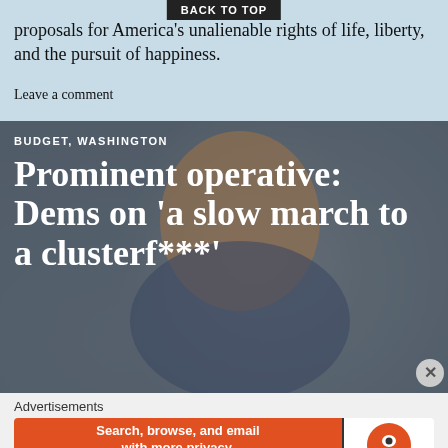proposals for America's unalienable rights of life, liberty, and the pursuit of happiness.
Leave a comment
[Figure (photo): Close-up photograph of an older man with grey hair, appears to be speaking, with a blurred crowd background. Text overlay reads: BUDGET, WASHINGTON — Prominent operative: Dems on 'a slow march to a clusterf***']
BUDGET, WASHINGTON
Prominent operative: Dems on 'a slow march to a clusterf***'
Advertisements
[Figure (screenshot): DuckDuckGo advertisement banner with orange background on left saying 'Search, browse, and email with more privacy. All in One Free App' and DuckDuckGo logo on right with white background.]